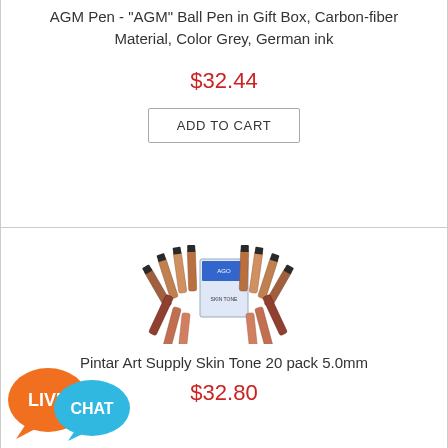AGM Pen - "AGM" Ball Pen in Gift Box, Carbon-fiber Material, Color Grey, German ink
$32.44
ADD TO CART
[Figure (photo): Product photo of Pintar Art Supply Skin Tone 20 pack marker set arranged in a circular fan pattern around a box]
Pintar Art Supply Skin Tone 20 pack 5.0mm
$32.80
[Figure (illustration): Live Chat button with orange speech bubble labeled LIVE and blue speech bubble labeled CHAT]